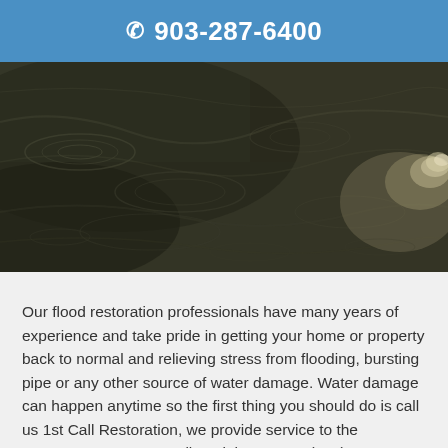903-287-6400
[Figure (photo): Aerial or close-up photo of dark flood water with ripples and splashing, showing active water flooding.]
Our flood restoration professionals have many years of experience and take pride in getting your home or property back to normal and relieving stress from flooding, bursting pipe or any other source of water damage. Water damage can happen anytime so the first thing you should do is call us 1st Call Restoration, we provide service to the Streetman, TX area. Call us right away at (903) 414-5210 so that we can mitigate, prevent, and repair your water damaged home or business.